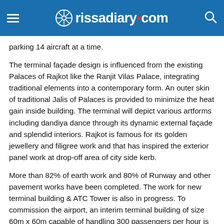rissadiary.com
parking 14 aircraft at a time.
The terminal façade design is influenced from the existing Palaces of Rajkot like the Ranjit Vilas Palace, integrating traditional elements into a contemporary form. An outer skin of traditional Jalis of Palaces is provided to minimize the heat gain inside building. The terminal will depict various artforms including dandiya dance through its dynamic external façade and splendid interiors. Rajkot is famous for its golden jewellery and filigree work and that has inspired the exterior panel work at drop-off area of city side kerb.
More than 82% of earth work and 80% of Runway and other pavement works have been completed. The work for new terminal building & ATC Tower is also in progress. To commission the airport, an interim terminal building of size 60m x 60m capable of handling 300 passengers per hour is also in progress. The present progress of the total project is 45%. It is expected that the new airport will be ready for operation by